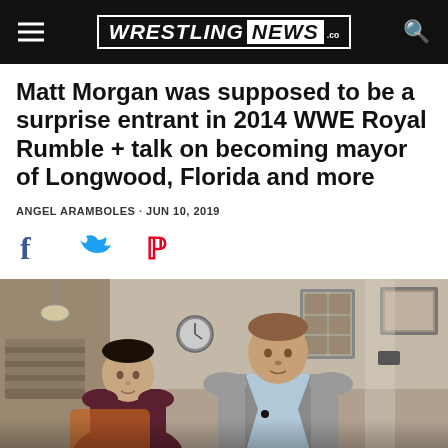WRESTLING NEWS .co
Matt Morgan was supposed to be a surprise entrant in 2014 WWE Royal Rumble + talk on becoming mayor of Longwood, Florida and more
ANGEL ARAMBOLES · JUN 10, 2019
[Figure (other): Social share icons: Facebook (f), Twitter (bird), Pinterest (P)]
[Figure (photo): Two men sitting in a living room during an interview. Left: man in dark maroon t-shirt. Right: taller man in a grey blazer with light blue shirt. Background shows wall with framed photos and a clock.]